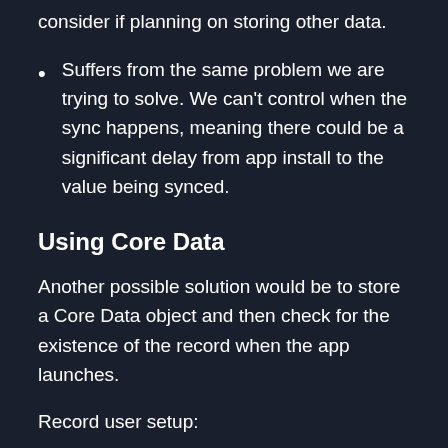consider if planning on storing other data.
Suffers from the same problem we are trying to solve. We can't control when the sync happens, meaning there could be a significant delay from app install to the value being synced.
Using Core Data
Another possible solution would be to store a Core Data object and then check for the existence of the record when the app launches.
Record user setup: